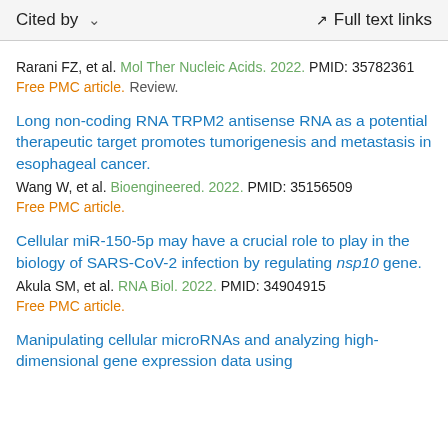Cited by   ∨   Full text links
Rarani FZ, et al. Mol Ther Nucleic Acids. 2022. PMID: 35782361
Free PMC article. Review.
Long non-coding RNA TRPM2 antisense RNA as a potential therapeutic target promotes tumorigenesis and metastasis in esophageal cancer.
Wang W, et al. Bioengineered. 2022. PMID: 35156509
Free PMC article.
Cellular miR-150-5p may have a crucial role to play in the biology of SARS-CoV-2 infection by regulating nsp10 gene.
Akula SM, et al. RNA Biol. 2022. PMID: 34904915
Free PMC article.
Manipulating cellular microRNAs and analyzing high-dimensional gene expression data using